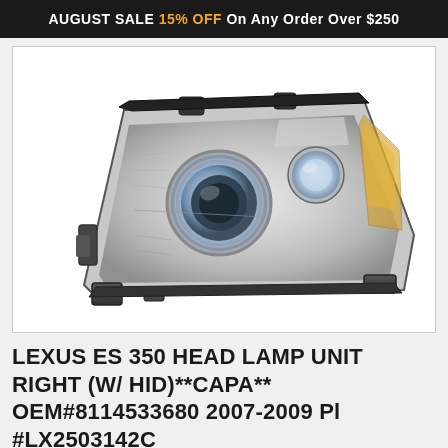AUGUST SALE 15% OFF On Any Order Over $250
[Figure (photo): Lexus ES 350 right side headlamp unit with HID projector, chrome housing, viewed from front-left angle]
LEXUS ES 350 HEAD LAMP UNIT RIGHT (W/ HID)**CAPA** OEM#8114533680 2007-2009 Pl #LX2503142C